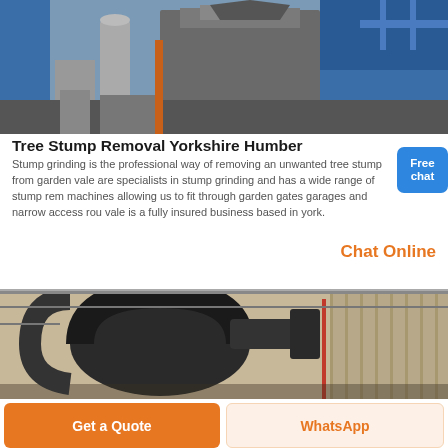[Figure (photo): Industrial machinery or furnace equipment photo — large grey metallic structure with pipes and blue building in background]
Tree Stump Removal Yorkshire Humber
Stump grinding is the professional way of removing an unwanted tree stump from garden vale are specialists in stump grinding and has a wide range of stump rem machines allowing us to fit through garden gates garages and narrow access rou vale is a fully insured business based in york.
[Figure (other): Free chat button — blue rounded rectangle with white text 'Free chat']
Chat Online
[Figure (photo): Industrial interior photo showing large dark pipe ductwork inside a factory or warehouse]
Get a Quote
WhatsApp